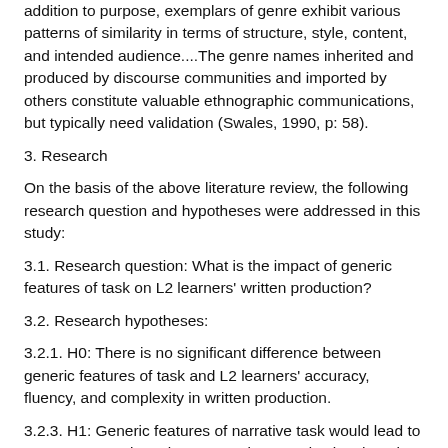addition to purpose, exemplars of genre exhibit various patterns of similarity in terms of structure, style, content, and intended audience....The genre names inherited and produced by discourse communities and imported by others constitute valuable ethnographic communications, but typically need validation (Swales, 1990, p: 58).
3. Research
On the basis of the above literature review, the following research question and hypotheses were addressed in this study:
3.1. Research question: What is the impact of generic features of task on L2 learners' written production?
3.2. Research hypotheses:
3.2.1. H0: There is no significant difference between generic features of task and L2 learners' accuracy, fluency, and complexity in written production.
3.2.3. H1: Generic features of narrative task would lead to more accuracy in L2 learners' written production than the generic features of cause/effect task.